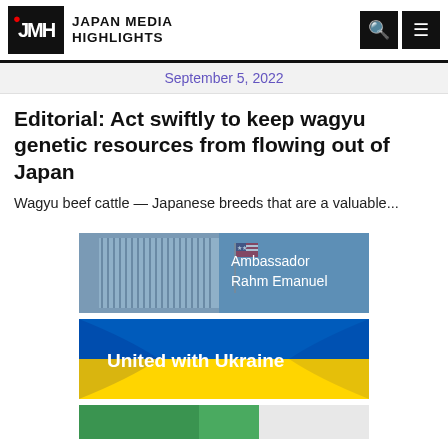JMH JAPAN MEDIA HIGHLIGHTS
September 5, 2022
Editorial: Act swiftly to keep wagyu genetic resources from flowing out of Japan
Wagyu beef cattle — Japanese breeds that are a valuable...
[Figure (illustration): Ambassador Rahm Emanuel banner with building and US flag]
[Figure (illustration): United with Ukraine banner with Ukrainian flag colors (blue and yellow)]
[Figure (illustration): Partially visible third banner at bottom]